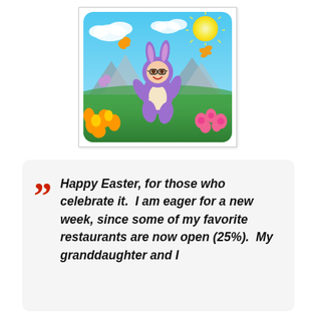[Figure (illustration): A cartoon bitmoji-style illustration of a person in a purple Easter bunny costume dancing in a flower field. The character has glasses and a human face. Background shows blue sky with sun, white clouds, mountains, green grass, yellow and pink flowers, and colorful butterflies.]
Happy Easter, for those who celebrate it.  I am eager for a new week, since some of my favorite restaurants are now open (25%).  My granddaughter and I